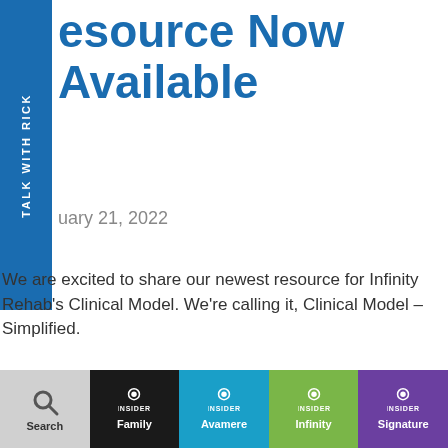[Figure (logo): Blue vertical sidebar with rotated white text reading TALK WITH RICK]
Resource Now Available
January 21, 2022
We are excited to share our newest resource for Infinity Rehab's Clinical Model. We're calling it, Clinical Model – Simplified.
Infinity
Announcements, Employees, Miscellaneous
Search | Family | Avamere | Infinity | Signature